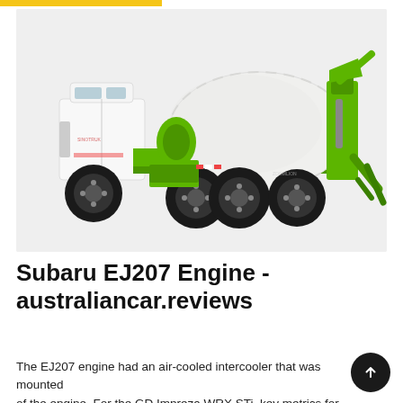[Figure (photo): A green and white concrete mixer truck on a light grey background, photographed from the side-right angle. The truck has a white cab, green chassis frame, large white rotating drum, and green rear mixing apparatus with chute.]
Subaru EJ207 Engine - australiancar.reviews
The EJ207 engine had an air-cooled intercooler that was mounted of the engine. For the GD Impreza WRX STi, key metrics for the